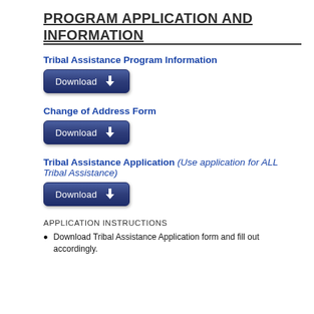PROGRAM APPLICATION AND INFORMATION
Tribal Assistance Program Information
[Figure (other): Download button with arrow icon]
Change of Address Form
[Figure (other): Download button with arrow icon]
Tribal Assistance Application (Use application for ALL Tribal Assistance)
[Figure (other): Download button with arrow icon]
APPLICATION INSTRUCTIONS
Download Tribal Assistance Application form and fill out accordingly.